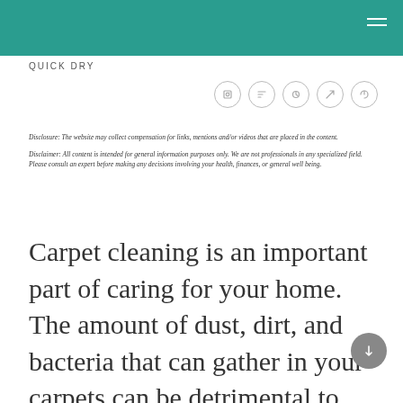QUICK DRY
Disclosure: The website may collect compensation for links, mentions and/or videos that are placed in the content.
Disclaimer: All content is intended for general information purposes only. We are not professionals in any specialized field. Please consult an expert before making any decisions involving your health, finances, or general well being.
Carpet cleaning is an important part of caring for your home. The amount of dust, dirt, and bacteria that can gather in your carpets can be detrimental to your family’s health, especially if you have young children who play on the floor. Having your carpet shampooed in a regular basis is a great way to